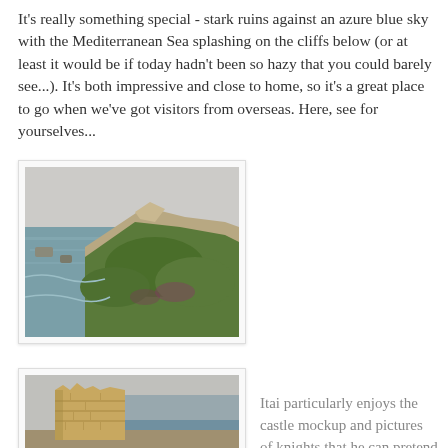It's really something special - stark ruins against an azure blue sky with the Mediterranean Sea splashing on the cliffs below (or at least it would be if today hadn't been so hazy that you could barely see...). It's both impressive and close to home, so it's a great place to go when we've got visitors from overseas. Here, see for yourselves...
[Figure (photo): A hazy coastal hillside covered in green vegetation and rocky outcroppings, with the sea visible in the background]
[Figure (photo): Ancient stone ruins, likely a castle wall remnant, with the sea visible in the misty background]
Itai particularly enjoys the castle mockup and pictures of knights that he can pretend to joust.